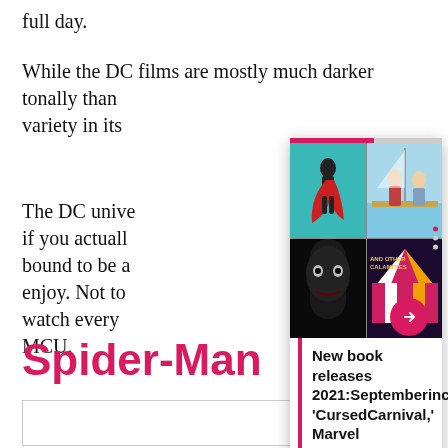full day.
While the DC films are mostly much darker tonally than [obscured by overlay] variety in its [obscured]
[Figure (screenshot): Overlay card showing a 2x2 grid of book cover images with a progress bar at top, dot navigation on the right, a pink arrow button, and caption text: 'New book releases 2021:Septemberincludes 'CursedCarnival,' Marvel']
The DC unive[rse] if you actuall[y] bound to be a[...] ll enjoy. Not to watch every MCU.
Spider-Man